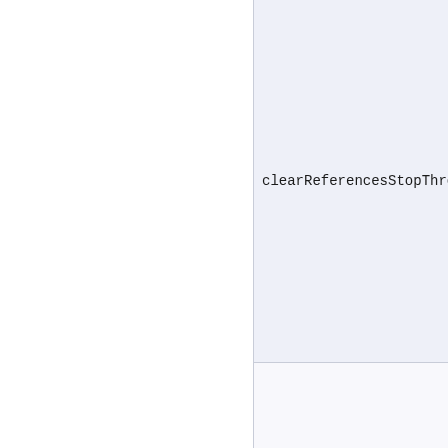clearReferencesStopThread
clearReferencesStopTimerT
clearReferencesThreadLoca